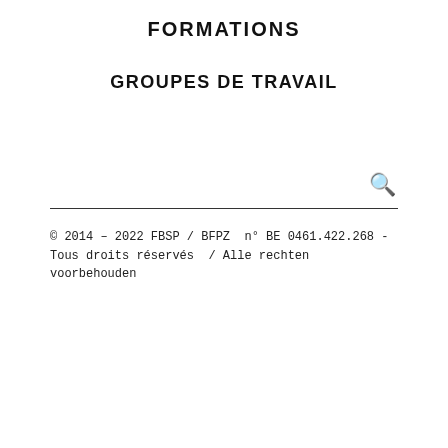FORMATIONS
GROUPES DE TRAVAIL
© 2014 – 2022 FBSP / BFPZ  n° BE 0461.422.268 - Tous droits réservés  / Alle rechten voorbehouden